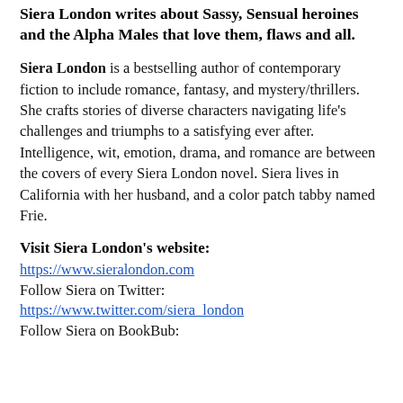Siera London writes about Sassy, Sensual heroines and the Alpha Males that love them, flaws and all.
Siera London is a bestselling author of contemporary fiction to include romance, fantasy, and mystery/thrillers. She crafts stories of diverse characters navigating life's challenges and triumphs to a satisfying ever after. Intelligence, wit, emotion, drama, and romance are between the covers of every Siera London novel. Siera lives in California with her husband, and a color patch tabby named Frie.
Visit Siera London's website:
https://www.sieralondon.com
Follow Siera on Twitter:
https://www.twitter.com/siera_london
Follow Siera on BookBub: